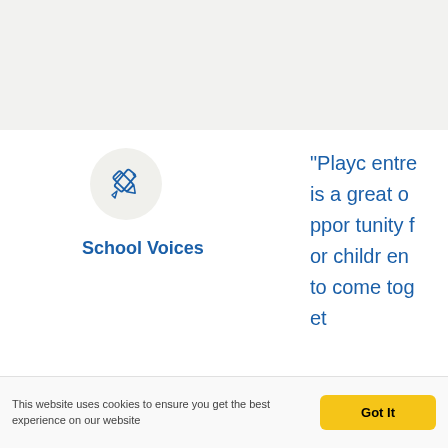[Figure (illustration): Pencil icon inside a light gray circle]
School Voices
"Playcentre is a great opportunity for children to come toget
This website uses cookies to ensure you get the best experience on our website